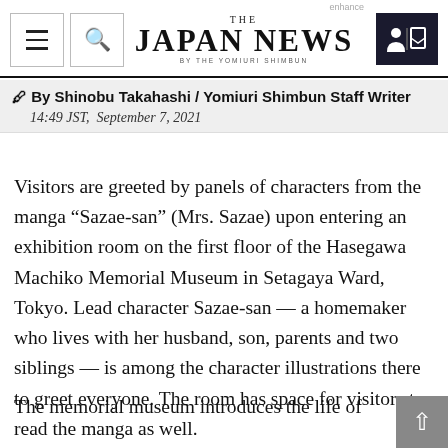THE JAPAN NEWS BY THE YOMIURI SHIMBUN
By Shinobu Takahashi / Yomiuri Shimbun Staff Writer
14:49 JST,  September 7, 2021
Visitors are greeted by panels of characters from the manga “Sazae-san” (Mrs. Sazae) upon entering an exhibition room on the first floor of the Hasegawa Machiko Memorial Museum in Setagaya Ward, Tokyo. Lead character Sazae-san — a homemaker who lives with her husband, son, parents and two siblings — is among the character illustrations there to greet everyone. The room has space for visitors to read the manga as well.
The memorial museum introduces the life of